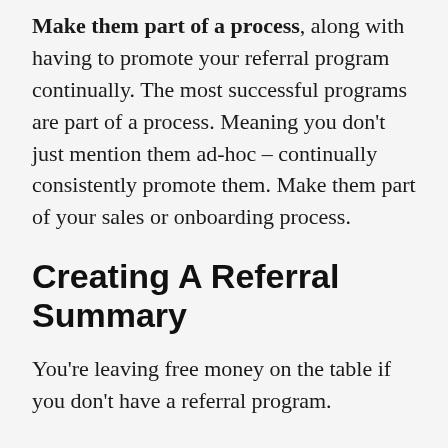Make them part of a process, along with having to promote your referral program continually. The most successful programs are part of a process. Meaning you don't just mention them ad-hoc – continually consistently promote them. Make them part of your sales or onboarding process.
Creating A Referral Summary
You're leaving free money on the table if you don't have a referral program.